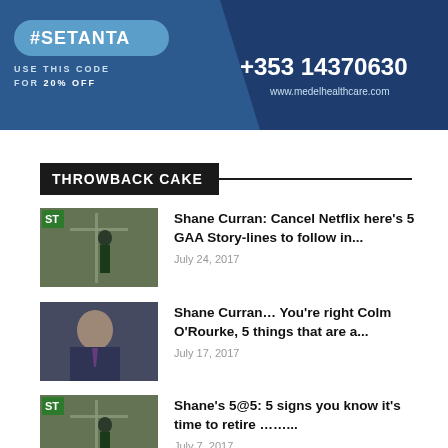[Figure (infographic): Advertisement banner with dark blue background. Left side shows '#SETANTA USE THIS CODE FOR 20% OFF' in a pill-shaped button. Right side shows '+353 14370630' and 'www.medelhealthcare.com'.]
THROWBACK CAKE
[Figure (photo): Thumbnail of a GAA goalkeeper standing near goalposts, with Setanta Sports logo overlay.]
Shane Curran: Cancel Netflix here's 5 GAA Story-lines to follow in...
July 24, 2017
[Figure (photo): Thumbnail of a man in a suit speaking, with blurred background.]
Shane Curran… You're right Colm O'Rourke, 5 things that are a...
July 17, 2017
[Figure (photo): Thumbnail of a GAA goalkeeper near goalposts with Setanta Sports logo overlay.]
Shane's 5@5: 5 signs you know it's time to retire …......
July 7, 2017